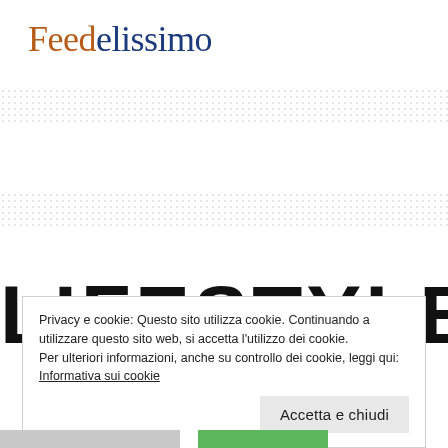Feedelissimo
LIFESTYLE
Privacy e cookie: Questo sito utilizza cookie. Continuando a utilizzare questo sito web, si accetta l'utilizzo dei cookie.
Per ulteriori informazioni, anche su controllo dei cookie, leggi qui:
Informativa sui cookie
Accetta e chiudi